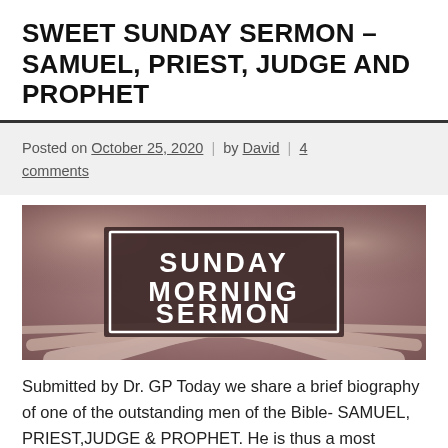SWEET SUNDAY SERMON – SAMUEL, PRIEST, JUDGE AND PROPHET
Posted on October 25, 2020 | by David | 4 comments
[Figure (illustration): Banner image with text 'SUNDAY MORNING SERMON' overlaid on a background showing an open Bible with radiating light, in muted brown/mauve tones.]
Submitted by Dr. GP Today we share a brief biography of one of the outstanding men of the Bible- SAMUEL, PRIEST,JUDGE & PROPHET. He is thus a most